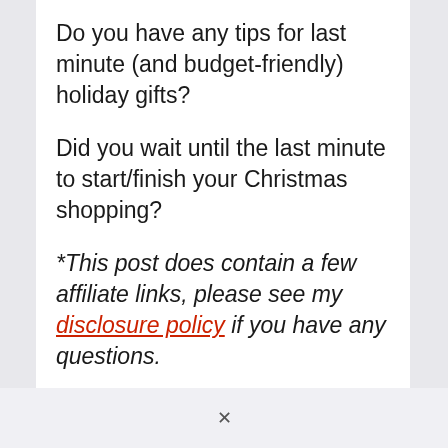Do you have any tips for last minute (and budget-friendly) holiday gifts?
Did you wait until the last minute to start/finish your Christmas shopping?
*This post does contain a few affiliate links, please see my disclosure policy if you have any questions.